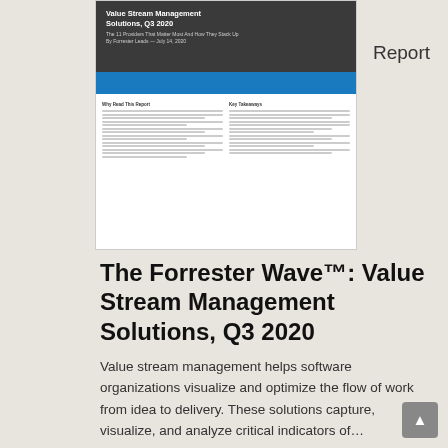[Figure (screenshot): Thumbnail preview of a Forrester Wave report document cover page showing the title 'Value Stream Management Solutions, Q3 2020' against a dark header with a blue section below]
Report
The Forrester Wave™: Value Stream Management Solutions, Q3 2020
Value stream management helps software organizations visualize and optimize the flow of work from idea to delivery. These solutions capture, visualize, and analyze critical indicators of…
Download Now
Share
Plutora Co-Founds VSMC